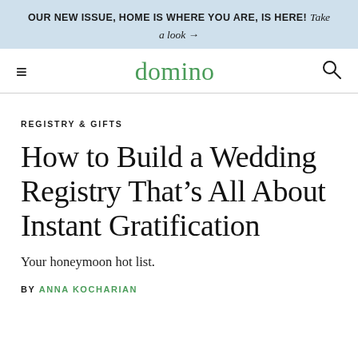OUR NEW ISSUE, HOME IS WHERE YOU ARE, IS HERE! Take a look →
domino
REGISTRY & GIFTS
How to Build a Wedding Registry That's All About Instant Gratification
Your honeymoon hot list.
BY ANNA KOCHARIAN